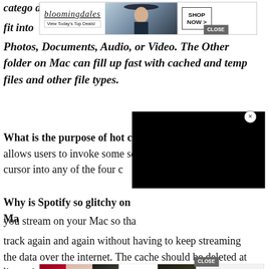[Figure (screenshot): Bloomingdale's advertisement banner at top of page with logo, 'View Today's Top Deals!' tagline, fashion photo of woman in hat, and 'SHOP NOW >' button with CLOSE button]
categories and files that don't fit into Photos, Documents, Audio, or Video. The Other folder on Mac can fill up fast with cached and temp files and other file types.
What is the purpose of hot corners? A Mac feature that allows users to invoke some screen action when moving the cursor into any of the four c
[Figure (screenshot): Black video player overlay covering right side of page]
Why is Spotify so glitchy on Ma
you stream on your Mac so tha track again and again without having to keep streaming the data over the internet. The cache should be deleted at the end of each session, but sometimes this d
[Figure (screenshot): ULTA Beauty advertisement banner at bottom with makeup/beauty imagery, ULTA logo, and 'SHOP NOW' button with CLOSE button]
happe